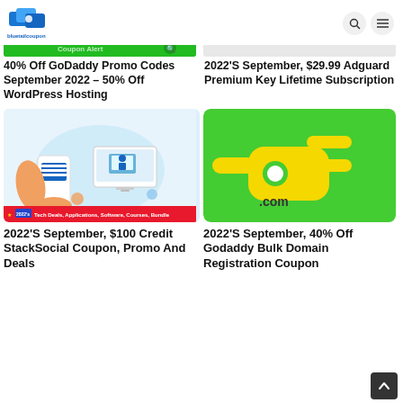bluetailcoupon — navigation header with logo, search and menu icons
[Figure (screenshot): Green banner partially visible at top left column]
[Figure (screenshot): Light banner partially visible at top right column]
40% Off GoDaddy Promo Codes September 2022 – 50% Off WordPress Hosting
2022'S September, $29.99 Adguard Premium Key Lifetime Subscription
[Figure (illustration): StackSocial coupon thumbnail: phone with hamburger menu icon, laptop, cloud, gears, with 'stacksocial' text, red bar at bottom with star, 2022 badge, and 'Tech Deals, Applications, Software, Courses, Bundle' text]
[Figure (illustration): Green background with yellow electric plug icon and '.com' text]
2022'S September, $100 Credit StackSocial Coupon, Promo And Deals
2022'S September, 40% Off Godaddy Bulk Domain Registration Coupon